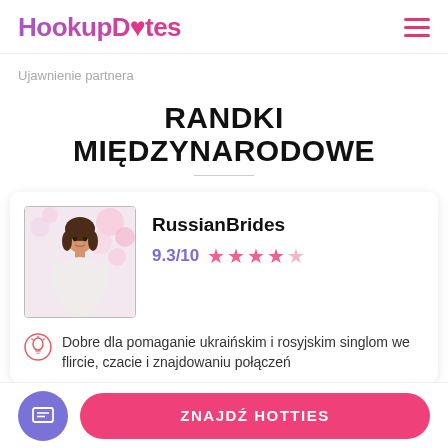HookuDates
Ujawnienie partnera
RANDKI MIĘDZYNARODOWE
[Figure (other): RussianBrides profile card: photo of woman in white dress with flowers, name RussianBrides, rating 9.3/10 with 4.5 pink stars]
Dobre dla pomaganie ukraińskim i rosyjskim singlom we flircie, czacie i znajdowaniu połączeń
ZNAJDŹ HOTTIES